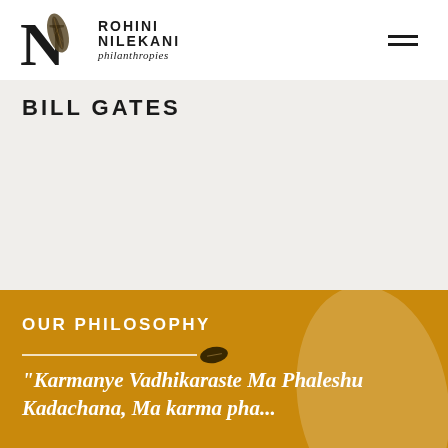ROHINI NILEKANI philanthropies
BILL GATES
OUR PHILOSOPHY
“Karmanye Vadhikaraste Ma Phaleshu Kadachana, Ma karma phalaheturbhurma Te